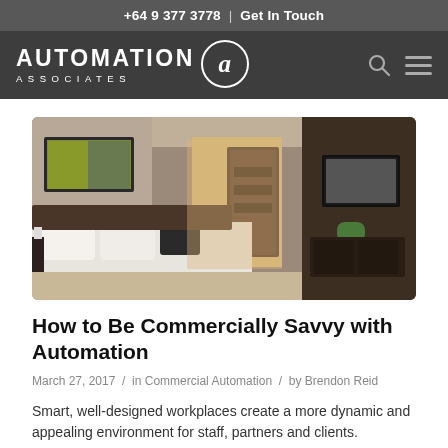+64 9 377 3778  |  Get In Touch
[Figure (logo): Automation Associates logo with circular 'a' icon, search icon, and hamburger menu on dark grey background]
[Figure (photo): Modern hotel/bedroom interior with white bedding, dark wood walls, wall-mounted TV, artwork, and en-suite bathroom visible through glass doors]
How to Be Commercially Savvy with Automation
March 27, 2017  /  in Commercial Automation  /  by Brendon Reid
Smart, well-designed workplaces create a more dynamic and appealing environment for staff, partners and clients.